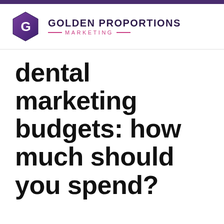[Figure (logo): Golden Proportions Marketing logo with hexagon icon and brand name]
dental marketing budgets: how much should you spend?